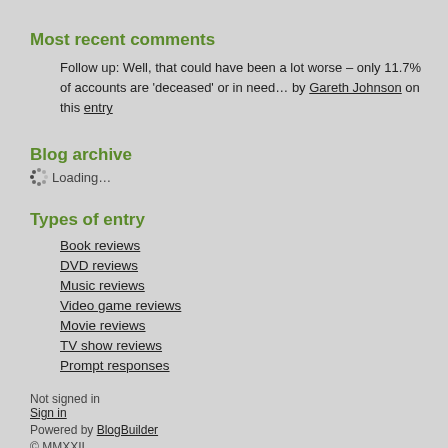Most recent comments
Follow up: Well, that could have been a lot worse – only 11.7% of accounts are 'deceased' or in need… by Gareth Johnson on this entry
Blog archive
Loading...
Types of entry
Book reviews
DVD reviews
Music reviews
Video game reviews
Movie reviews
TV show reviews
Prompt responses
Not signed in
Sign in
Powered by BlogBuilder
© MMXXII